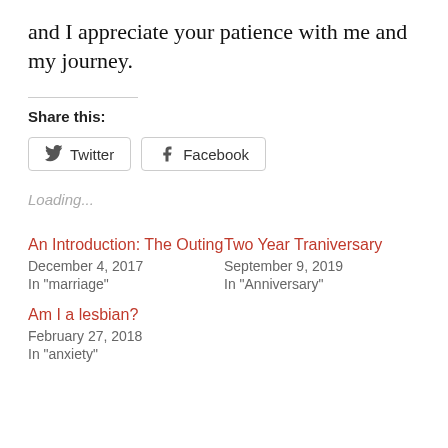and I appreciate your patience with me and my journey.
Share this:
Twitter  Facebook
Loading...
An Introduction: The Outing
December 4, 2017
In "marriage"
Two Year Traniversary
September 9, 2019
In "Anniversary"
Am I a lesbian?
February 27, 2018
In "anxiety"